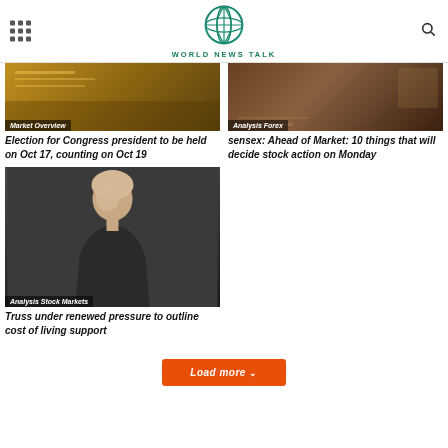WORLD NEWS TALK
[Figure (photo): Market Overview - stock market image with financial data]
Market Overview
Election for Congress president to be held on Oct 17, counting on Oct 19
[Figure (photo): Analysis Forex - forex trading image]
Analysis Forex
sensex: Ahead of Market: 10 things that will decide stock action on Monday
[Figure (photo): Analysis Stock Markets - Liz Truss speaking at podium]
Analysis Stock Markets
Truss under renewed pressure to outline cost of living support